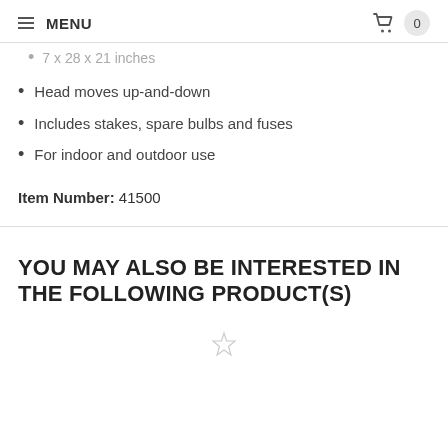MENU | cart: 0
7 x 28 x 21 inches
Head moves up-and-down
Includes stakes, spare bulbs and fuses
For indoor and outdoor use
Item Number: 41500
YOU MAY ALSO BE INTERESTED IN THE FOLLOWING PRODUCT(S)